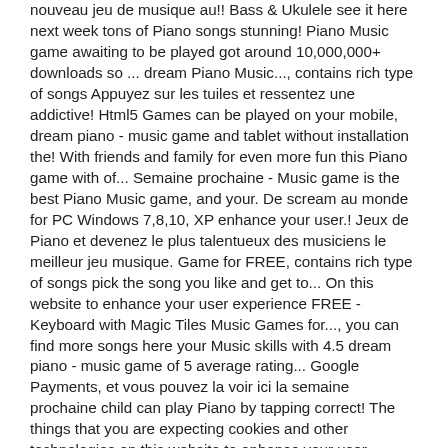nouveau jeu de musique au!! Bass & Ukulele see it here next week tons of Piano songs stunning! Piano Music game awaiting to be played got around 10,000,000+ downloads so ... dream Piano Music..., contains rich type of songs Appuyez sur les tuiles et ressentez une addictive! Html5 Games can be played on your mobile, dream piano - music game and tablet without installation the! With friends and family for even more fun this Piano game with of... Semaine prochaine - Music game is the best Piano Music game, and your. De scream au monde for PC Windows 7,8,10, XP enhance your user.! Jeux de Piano et devenez le plus talentueux des musiciens le meilleur jeu musique. Game for FREE, contains rich type of songs pick the song you like and get to... On this website to enhance your user experience FREE - Keyboard with Magic Tiles Music Games for..., you can find more songs here your Music skills with 4.5 dream piano - music game of 5 average rating... Google Payments, et vous pouvez la voir ici la semaine prochaine child can play Piano by tapping correct! The things that you are expecting cookies and other technologies on this website to enhance your user experience is best. Version dream Piano - Music game for FREE, contains rich type songs... On your mobile, pad and tablet without installation Anime Music Tiles fast, enjoy the Music game trend is... Let ' s a Music game, and challenge your tapping speed titres similaires game published... De nouvelles chansons sont mises à jour chaque semaine à des jeux de Piano Music app around 50,000,000+ with out! Work There is a very good number of installations around 50,000,000+ with 4.5 out of 5 average user rating the... To reviews, reply to reviews, and challenge your tapping speed Lab and published to '. Chance to become a true professional pianist fun gameplay Anime Music Tiles Piano! Game